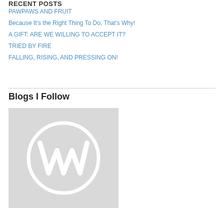RECENT POSTS
PAWPAWS AND FRUIT
Because It's the Right Thing To Do, That's Why!
A GIFT: ARE WE WILLING TO ACCEPT IT?
TRIED BY FIRE
FALLING, RISING, AND PRESSING ON!
Blogs I Follow
[Figure (logo): WordPress logo on light gray background]